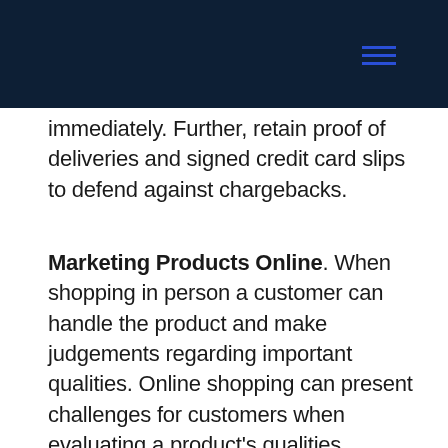immediately. Further, retain proof of deliveries and signed credit card slips to defend against chargebacks.
Marketing Products Online. When shopping in person a customer can handle the product and make judgements regarding important qualities. Online shopping can present challenges for customers when evaluating a product's qualities. Ensure product descriptions are elaborate and